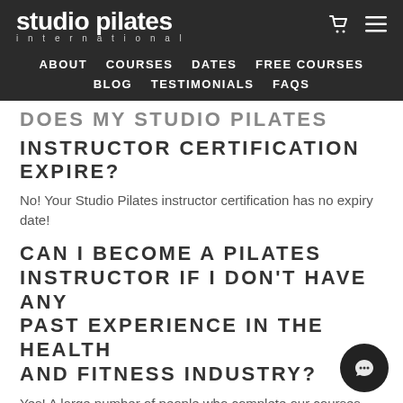studio pilates international — ABOUT  COURSES  DATES  FREE COURSES  BLOG  TESTIMONIALS  FAQS
DOES MY STUDIO PILATES INSTRUCTOR CERTIFICATION EXPIRE?
No! Your Studio Pilates instructor certification has no expiry date!
CAN I BECOME A PILATES INSTRUCTOR IF I DON'T HAVE ANY PAST EXPERIENCE IN THE HEALTH AND FITNESS INDUSTRY?
Yes! A large number of people who complete our courses have any experience in the health and fitness industry. Yo definitely still become a Pilates instructor, your pathway wi be a little different to others already in the industry. Before you